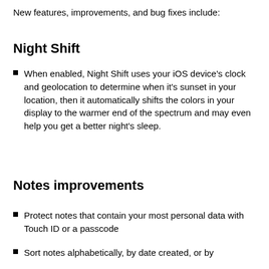New features, improvements, and bug fixes include:
Night Shift
When enabled, Night Shift uses your iOS device's clock and geolocation to determine when it's sunset in your location, then it automatically shifts the colors in your display to the warmer end of the spectrum and may even help you get a better night's sleep.
Notes improvements
Protect notes that contain your most personal data with Touch ID or a passcode
Sort notes alphabetically, by date created, or by